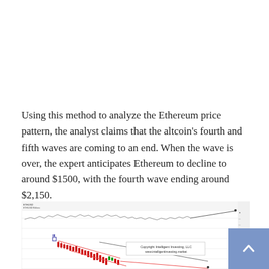Using this method to analyze the Ethereum price pattern, the analyst claims that the altcoin's fourth and fifth waves are coming to an end. When the wave is over, the expert anticipates Ethereum to decline to around $1500, with the fourth wave ending around $2,150.
[Figure (continuous-plot): Ethereum price chart showing Elliott Wave analysis with candlestick data, trend lines indicating wave 4 and wave 5 patterns. Chart includes a copyright watermark 'Copyright Intelligent Investing, LLC www.intelligentinvesting.market'. Price shows a declining wedge pattern with red candlesticks and diagonal trend lines projecting downward target near $1500.]